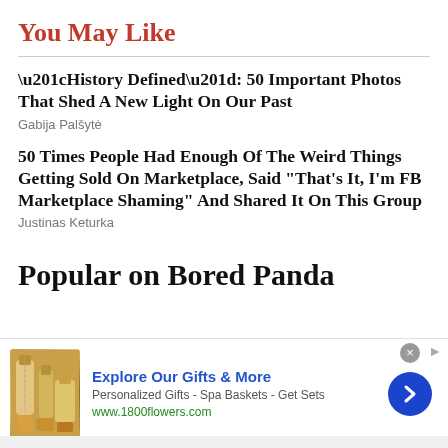You May Like
“History Defined”: 50 Important Photos That Shed A New Light On Our Past
Gabija Palšytė
50 Times People Had Enough Of The Weird Things Getting Sold On Marketplace, Said “That's It, I'm FB Marketplace Shaming” And Shared It On This Group
Justinas Keturka
Popular on Bored Panda
[Figure (other): Advertisement banner: Explore Our Gifts & More - Personalized Gifts - Spa Baskets - Get Sets - www.1800flowers.com with gift product image and blue arrow button]